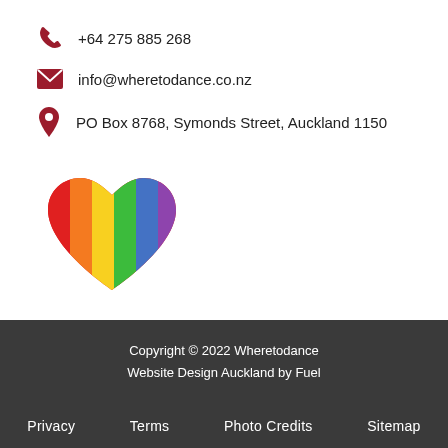+64 275 885 268
info@wheretodance.co.nz
PO Box 8768, Symonds Street, Auckland 1150
[Figure (illustration): Rainbow pride heart icon with vertical stripes in red, orange, yellow, green, blue, and purple]
Copyright © 2022 Wheretodance
Website Design Auckland by Fuel
Privacy   Terms   Photo Credits   Sitemap